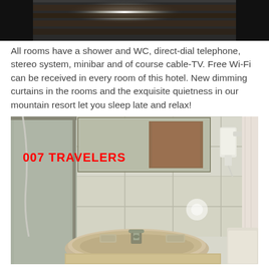[Figure (photo): Top partial photo showing a dark interior ceiling/room area with a bright light source, cropped.]
All rooms have a shower and WC, direct-dial telephone, stereo system, minibar and of course cable-TV. Free Wi-Fi can be received in every room of this hotel. New dimming curtains in the rooms and the exquisite quietness in our mountain resort let you sleep late and relax!
[Figure (photo): Photo of a hotel bathroom showing a white-tiled bathroom with glass shower enclosure, large mirror, wall-mounted hair dryer, sink/basin, faucet, and toilet. A red watermark reads '007 TRAVELERS'.]